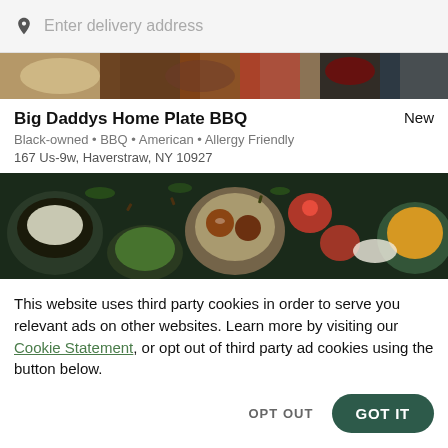Enter delivery address
[Figure (photo): Top food image strip showing BBQ and food items on dark wooden background]
Big Daddys Home Plate BBQ
New
Black-owned • BBQ • American • Allergy Friendly
167 Us-9w, Haverstraw, NY 10927
[Figure (photo): Wide food photo showing colorful Indian/Asian dishes, bowls of sauces, lit candles, and spices on dark background]
This website uses third party cookies in order to serve you relevant ads on other websites. Learn more by visiting our Cookie Statement, or opt out of third party ad cookies using the button below.
OPT OUT
GOT IT